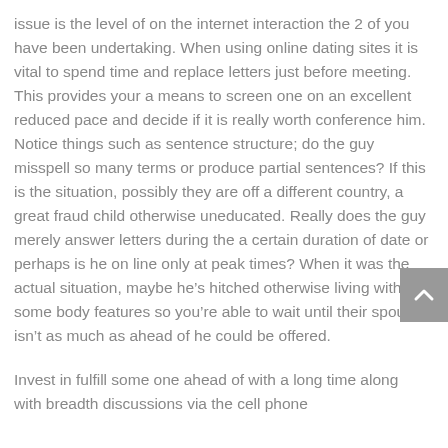issue is the level of on the internet interaction the 2 of you have been undertaking. When using online dating sites it is vital to spend time and replace letters just before meeting. This provides your a means to screen one on an excellent reduced pace and decide if it is really worth conference him. Notice things such as sentence structure; do the guy misspell so many terms or produce partial sentences? If this is the situation, possibly they are off a different country, a great fraud child otherwise uneducated. Really does the guy merely answer letters during the a certain duration of date or perhaps is he on line only at peak times? When it was the actual situation, maybe he's hitched otherwise living with some body features so you're able to wait until their spouse isn't as much as ahead of he could be offered.
Invest in fulfill some one ahead of with a long time along with breadth discussions via the cell phone